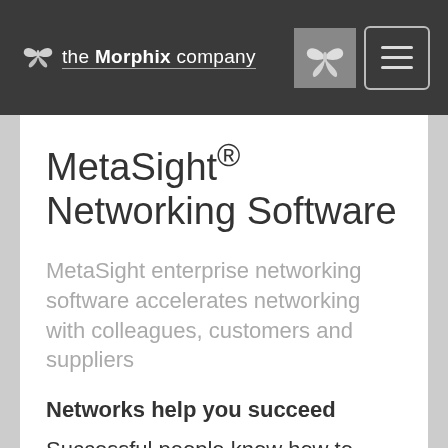the Morphix company
MetaSight® Networking Software
MetaSight enterprise networking software accelerates networking with colleagues, customers and suppliers
Networks help you succeed
Successful people know how to network. They will often use their network to develop new business, get answers to questions, keep informed of events, look for new job